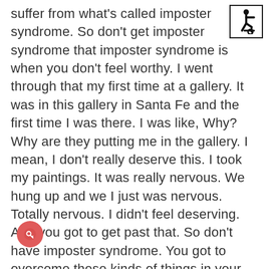[Figure (illustration): Accessibility icon (wheelchair symbol) in a black-bordered square, top-right corner]
suffer from what's called imposter syndrome. So don't get imposter syndrome that imposter syndrome is when you don't feel worthy. I went through that my first time at a gallery. It was in this gallery in Santa Fe and the first time I was there. I was like, Why? Why are they putting me in the gallery. I mean, I don't really deserve this. I took my paintings. It was really nervous. We hung up and we I just was nervous. Totally nervous. I didn't feel deserving. And you got to get past that. So don't have imposter syndrome. You got to overcome these kinds of things in your head. I think another thing, just just a personal thing. Don't paint too small. You know, the painters Bakkies the plein air painters Bakkies paint bigger than the plein air painters on the other side of the country. I don't know why it is it probably has to do with Redfield or one of those artists but you know, they use these great big ticket